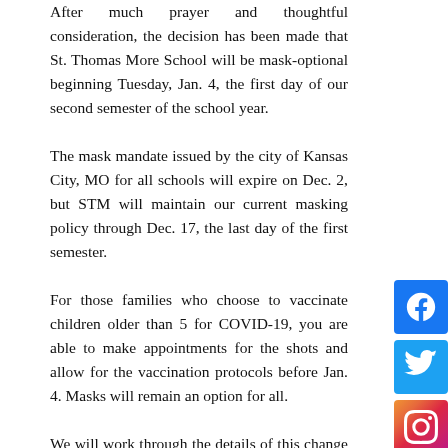After much prayer and thoughtful consideration, the decision has been made that St. Thomas More School will be mask-optional beginning Tuesday, Jan. 4, the first day of our second semester of the school year. The mask mandate issued by the city of Kansas City, MO for all schools will expire on Dec. 2, but STM will maintain our current masking policy through Dec. 17, the last day of the first semester. For those families who choose to vaccinate children older than 5 for COVID-19, you are able to make appointments for the shots and allow for the vaccination protocols before Jan. 4. Masks will remain an option for all. We will work through the details of this change in our protocols during the next month following the guidance of the KCMO Health Department. Information will be shared with you as it becomes available. Please
[Figure (other): Social media icons: Facebook (blue), Twitter (light blue), Instagram (gradient)]